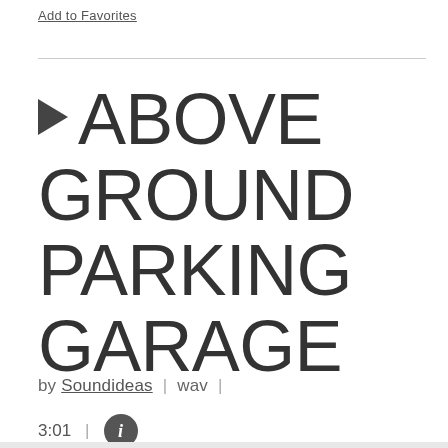Add to Favorites
▶  ABOVE GROUND PARKING GARAGE
by Soundideas  |  wav  |  3:01  |  ℹ